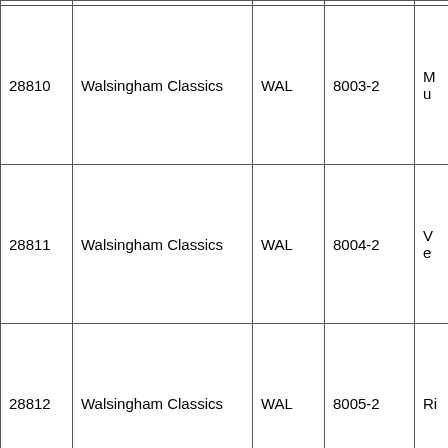| 28810 | Walsingham Classics | WAL | 8003-2 | Mu… |
| 28811 | Walsingham Classics | WAL | 8004-2 | Ve… |
| 28812 | Walsingham Classics | WAL | 8005-2 | Ri… |
|  |  |  |  |  |